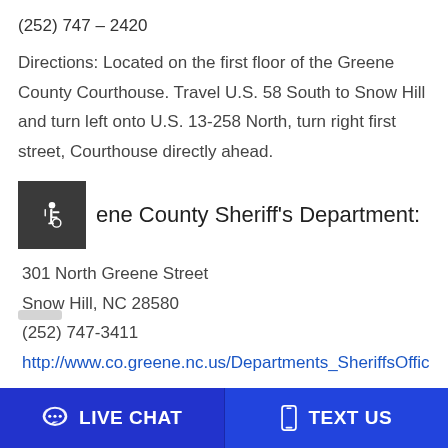(252) 747 – 2420
Directions: Located on the first floor of the Greene County Courthouse. Travel U.S. 58 South to Snow Hill and turn left onto U.S. 13-258 North, turn right first street, Courthouse directly ahead.
Greene County Sheriff's Department:
301 North Greene Street
Snow Hill, NC 28580
(252) 747-3411
http://www.co.greene.nc.us/Departments_SheriffsOffice.aspx
LIVE CHAT   TEXT US